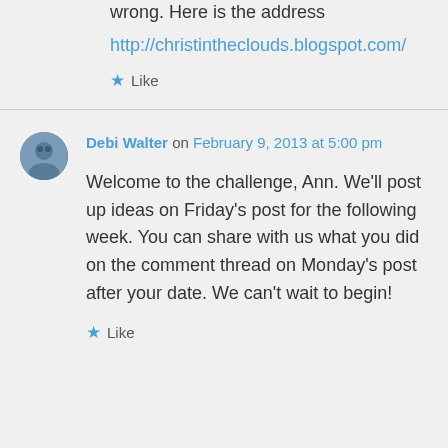For some reason my blog address came up wrong. Here is the address
http://christintheclouds.blogspot.com/
Like
Debi Walter on February 9, 2013 at 5:00 pm
Welcome to the challenge, Ann. We'll post up ideas on Friday's post for the following week. You can share with us what you did on the comment thread on Monday's post after your date. We can't wait to begin!
Like